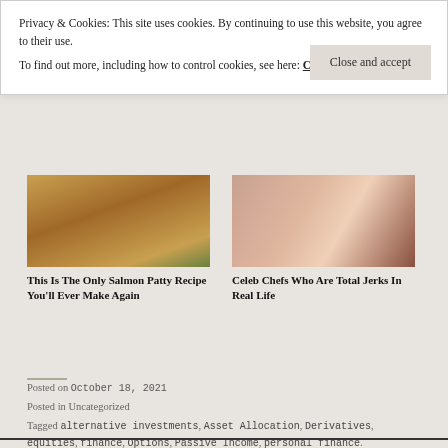Privacy & Cookies: This site uses cookies. By continuing to use this website, you agree to their use.
To find out more, including how to control cookies, see here: Cookie Policy
Close and accept
[Figure (photo): Photo of stacked salmon patties with green herbs]
This Is The Only Salmon Patty Recipe You'll Ever Make Again
[Figure (photo): Close-up photo of a smiling woman (celebrity chef)]
Celeb Chefs Who Are Total Jerks In Real Life
Posted on October 18, 2021
Posted in Uncategorized
Tagged alternative investments, Asset Allocation, Derivatives, equities, finance, Options, Passive Income, personal finance.